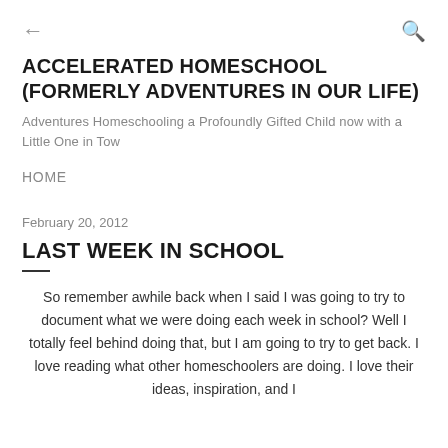← [back arrow]   [search icon]
ACCELERATED HOMESCHOOL (FORMERLY ADVENTURES IN OUR LIFE)
Adventures Homeschooling a Profoundly Gifted Child now with a Little One in Tow
HOME
February 20, 2012
LAST WEEK IN SCHOOL
So remember awhile back when I said I was going to try to document what we were doing each week in school? Well I totally feel behind doing that, but I am going to try to get back. I love reading what other homeschoolers are doing. I love their ideas, inspiration, and I